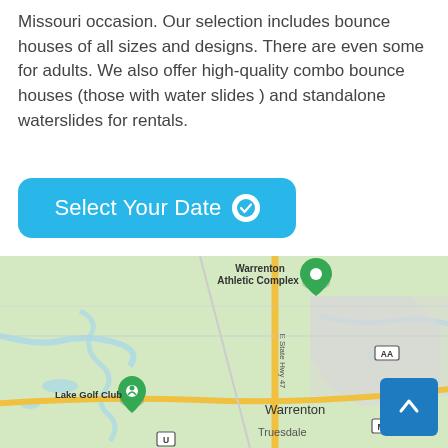Missouri occasion. Our selection includes bounce houses of all sizes and designs. There are even some for adults. We also offer high-quality combo bounce houses (those with water slides ) and standalone waterslides for rentals.
[Figure (other): A blue rounded button labeled 'Select Your Date' with a white checkmark circle icon on the right]
[Figure (map): Google Maps view showing Warrenton, Missouri area with Warrenton Athletic Complex marker, Lake Golf Club marker, roads including E State Hwy 47, and labels for Warrenton, Truesdale, and route markers AA, M, U]